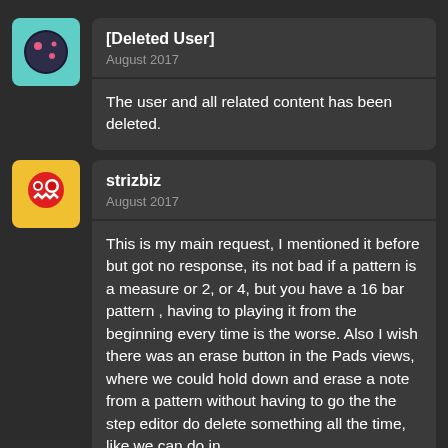[Figure (illustration): Teal/cyan square avatar with a dark circle containing pink dots — a stylized face icon]
[Deleted User]
August 2017
The user and all related content has been deleted.
[Figure (illustration): Yellow square avatar with a red circle face — white eyes with red pupils, zigzag mouth — cartoon style]
strizbiz
August 2017
This is my main request, I mentioned it before but got no response, its not bad if a pattern is a measure or 2, or 4, but you have a 16 bar pattern , having to playing it from the beginning every time is the worse. Also I wish there was an erase button in the Pads views, where we could hold down and erase a note from a pattern without having to go the the step editor do delete something all the time, like we can do in